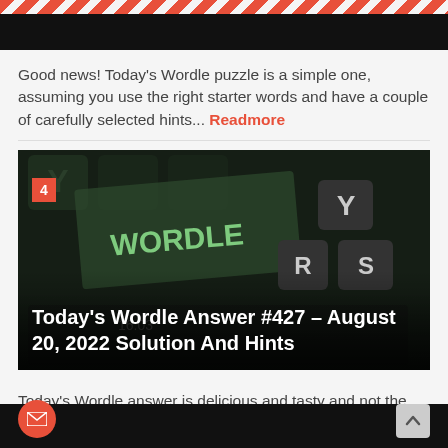[Figure (photo): Decorative diagonal stripe bar at top of page in orange/salmon color]
[Figure (photo): Dark image strip at top]
Good news! Today's Wordle puzzle is a simple one, assuming you use the right starter words and have a couple of carefully selected hints... Readmore
[Figure (photo): Photo of a smartphone showing the Wordle game on a keyboard background. Overlay text: 'Today's Wordle Answer #427 – August 20, 2022 Solution And Hints'. Orange badge with number 4 in top left.]
Today's Wordle answer is delicious and tasty and not the sort of thing you have all the time – unless you're Tom and Donna and you&... Readmore